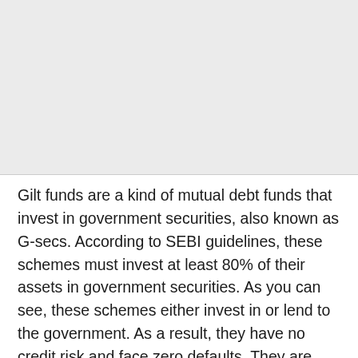[Figure (other): Gray placeholder area occupying the upper portion of the page]
Gilt funds are a kind of mutual debt funds that invest in government securities, also known as G-secs. According to SEBI guidelines, these schemes must invest at least 80% of their assets in government securities. As you can see, these schemes either invest in or lend to the government. As a result, they have no credit risk and face zero defaults. They are, however, highly sensitive to changes in interest rates. Here, we have highlighted one